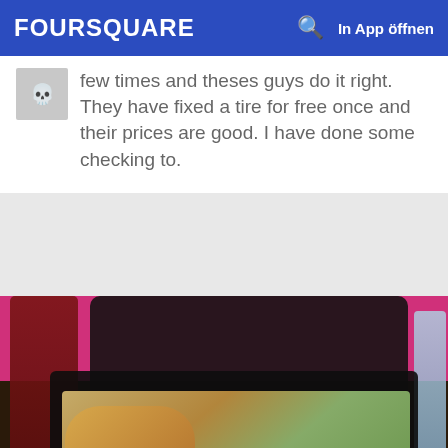FOURSQUARE  In App öffnen
few times and theses guys do it right. They have fixed a tire for free once and their prices are good. I have done some checking to.
[Figure (photo): Photo of a BBQ meal in a black clamshell takeout container with a bun sandwich, potato salad and coleslaw, on a pink/magenta tablecloth with drinks in background]
20. Up in Smoke BBQ
Various (See Facebook for schedule), Jacksonville, FL